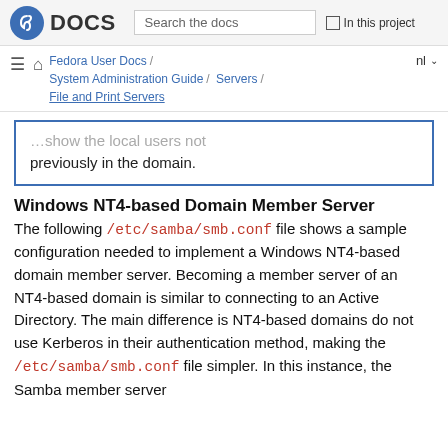Fedora DOCS | Search the docs | In this project
Fedora User Docs / System Administration Guide / Servers / File and Print Servers | nl
...previously in the domain.
Windows NT4-based Domain Member Server
The following /etc/samba/smb.conf file shows a sample configuration needed to implement a Windows NT4-based domain member server. Becoming a member server of an NT4-based domain is similar to connecting to an Active Directory. The main difference is NT4-based domains do not use Kerberos in their authentication method, making the /etc/samba/smb.conf file simpler. In this instance, the Samba member server